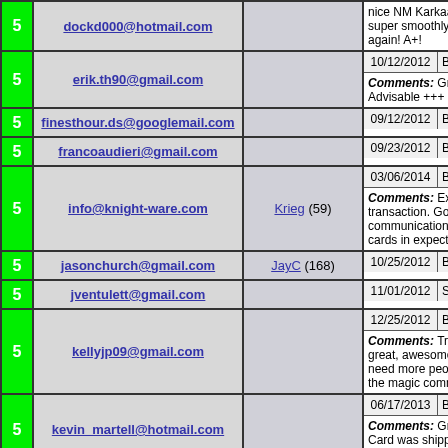| Rating | Email | Name | Date/Type/Comments |
| --- | --- | --- | --- |
| 5 | dockd000@hotmail.com |  | nice NM Karkaa... super smoothly! again! A+! |
| 5 | erik.th90@gmail.com |  | 10/12/2012 | Boug... Comments: Gre... Advisable +++ |
| 5 | finesthour.ds@googlemail.com |  | 09/12/2012 | Boug... |
| 5 | francoaudieri@gmail.com |  | 09/23/2012 | Boug... |
| 5 | info@knight-ware.com | Krieg (59) | 03/06/2014 | Boug... Comments: Exc... transaction. Goo... communications,... cards in expecte... |
| 5 | jasonchurch@gmail.com | JayC (168) | 10/25/2012 | Boug... |
| 5 | jventulett@gmail.com |  | 11/01/2012 | Solo... |
| 5 | kellyjp09@gmail.com |  | 12/25/2012 | Boug... Comments: Trac... great, awesome... need more peop... the magic comm... |
| 5 | kevin_martell@hotmail.com |  | 06/17/2013 | Boug... Comments: Gre... Card was shippe... and securely. Th... |